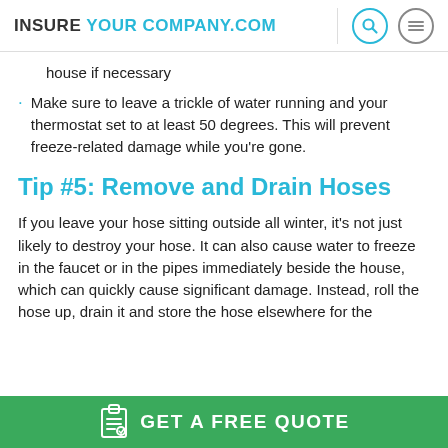INSURE YOUR COMPANY.COM
house if necessary
Make sure to leave a trickle of water running and your thermostat set to at least 50 degrees. This will prevent freeze-related damage while you're gone.
Tip #5: Remove and Drain Hoses
If you leave your hose sitting outside all winter, it's not just likely to destroy your hose. It can also cause water to freeze in the faucet or in the pipes immediately beside the house, which can quickly cause significant damage. Instead, roll the hose up, drain it and store the hose elsewhere for the
GET A FREE QUOTE